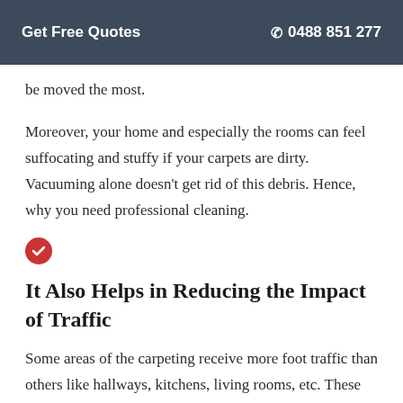Get Free Quotes   ☎ 0488 851 277
be moved the most.
Moreover, your home and especially the rooms can feel suffocating and stuffy if your carpets are dirty. Vacuuming alone doesn't get rid of this debris. Hence, why you need professional cleaning.
[Figure (illustration): Red circle with white checkmark icon]
It Also Helps in Reducing the Impact of Traffic
Some areas of the carpeting receive more foot traffic than others like hallways, kitchens, living rooms, etc. These areas tend to damage much faster (they also get darker in colour over time)